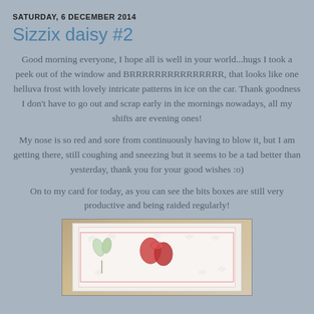SATURDAY, 6 DECEMBER 2014
Sizzix daisy #2
Good morning everyone, I hope all is well in your world...hugs I took a peek out of the window and BRRRRRRRRRRRRRRR, that looks like one helluva frost with lovely intricate patterns in ice on the car. Thank goodness I don't have to go out and scrap early in the mornings nowadays, all my shifts are evening ones!
My nose is so red and sore from continuously having to blow it, but I am getting there, still coughing and sneezing but it seems to be a tad better than yesterday, thank you for your good wishes :o)
On to my card for today, as you can see the bits boxes are still very productive and being raided regularly!
[Figure (photo): A handmade greeting card with embossed white panel featuring daisy patterns and a decorative floral die-cut element with red and green accents, placed on a tan/kraft background.]